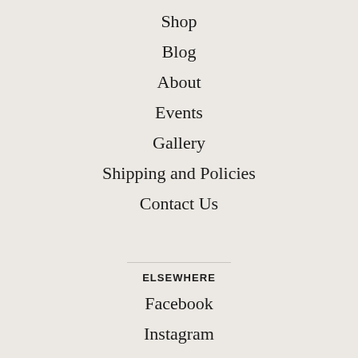Shop
Blog
About
Events
Gallery
Shipping and Policies
Contact Us
ELSEWHERE
Facebook
Instagram
Pinterest